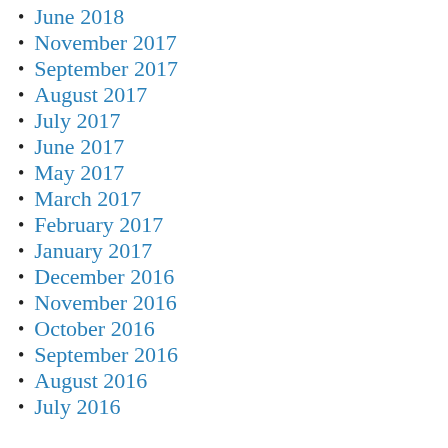June 2018
November 2017
September 2017
August 2017
July 2017
June 2017
May 2017
March 2017
February 2017
January 2017
December 2016
November 2016
October 2016
September 2016
August 2016
July 2016